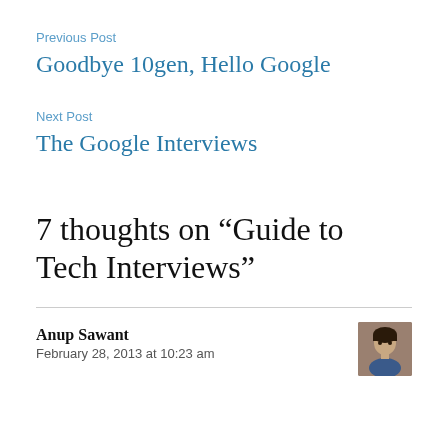Previous Post
Goodbye 10gen, Hello Google
Next Post
The Google Interviews
7 thoughts on “Guide to Tech Interviews”
Anup Sawant
February 28, 2013 at 10:23 am